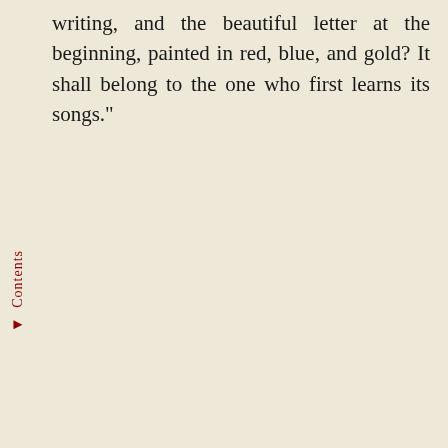writing, and the beautiful letter at the beginning, painted in red, blue, and gold? It shall belong to the one who first learns its songs."
Contents ▶